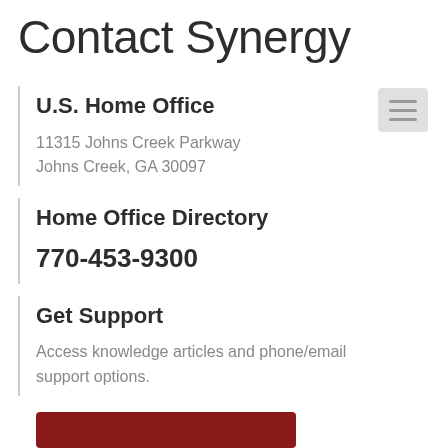Contact Synergy
U.S. Home Office
11315 Johns Creek Parkway
Johns Creek, GA 30097
Home Office Directory
770-453-9300
Get Support
Access knowledge articles and phone/email support options.